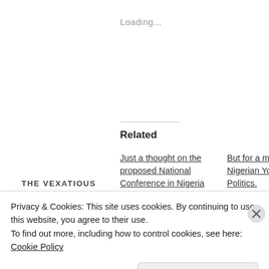Loading...
Related
Just a thought on the proposed National Conference in Nigeria
October 2, 2013
In "issues"
But for a moment... Nigerian Youth and Politics.
July 8, 2017
In "issues"
THE VEXATIOUS
Privacy & Cookies: This site uses cookies. By continuing to use this website, you agree to their use.
To find out more, including how to control cookies, see here: Cookie Policy
Close and accept